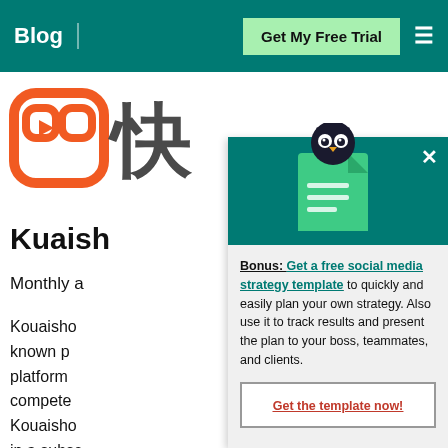Blog | Get My Free Trial ☰
[Figure (logo): Kuaishou app logo (orange) and Chinese characters, partially visible]
Kuaish...
Monthly a...
Kouaisho... known p... platform... compete... Kouaisho... in a subse... yet hit pe...
[Figure (illustration): Hootsuite popup overlay with owl mascot on green document icon, teal header background, × close button]
Bonus: Get a free social media strategy template to quickly and easily plan your own strategy. Also use it to track results and present the plan to your boss, teammates, and clients.
Get the template now!